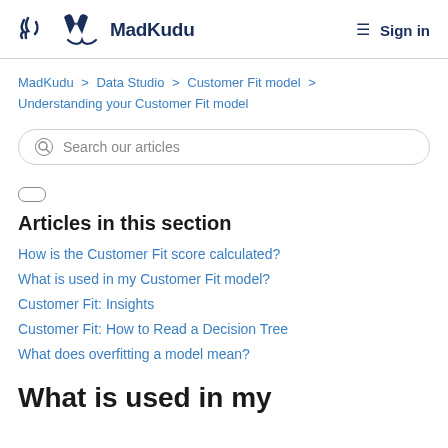MadKudu  Sign in
MadKudu > Data Studio > Customer Fit model > Understanding your Customer Fit model
Search our articles
Articles in this section
How is the Customer Fit score calculated?
What is used in my Customer Fit model?
Customer Fit: Insights
Customer Fit: How to Read a Decision Tree
What does overfitting a model mean?
What is used in my